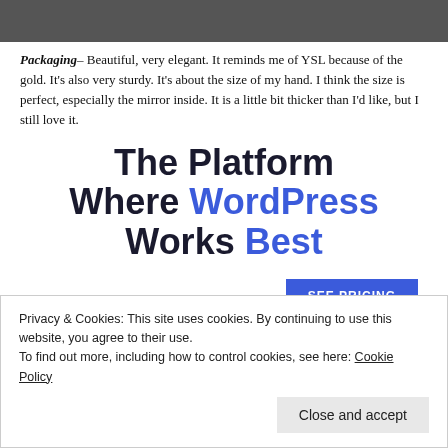[Figure (photo): Dark/grey background image cropped at top of page]
Packaging – Beautiful, very elegant. It reminds me of YSL because of the gold. It's also very sturdy. It's about the size of my hand. I think the size is perfect, especially the mirror inside. It is a little bit thicker than I'd like, but I still love it.
The Platform Where WordPress Works Best
SEE PRICING
Privacy & Cookies: This site uses cookies. By continuing to use this website, you agree to their use.
To find out more, including how to control cookies, see here: Cookie Policy
Close and accept